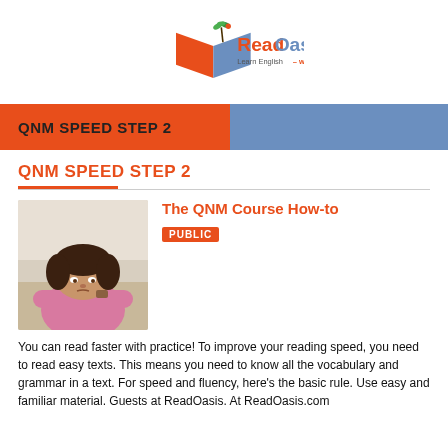[Figure (logo): ReadOasis logo with open book and palm tree icon, text 'ReadOasis Learn English - with Stories' in orange and blue]
QNM SPEED STEP 2
QNM SPEED STEP 2
[Figure (photo): Man resting face on table looking stressed or bored, wearing a pink shirt]
The QNM Course How-to
PUBLIC
You can read faster with practice! To improve your reading speed, you need to read easy texts. This means you need to know all the vocabulary and grammar in a text. For speed and fluency, here's the basic rule. Use easy and familiar material. Guests at ReadOasis. At ReadOasis.com